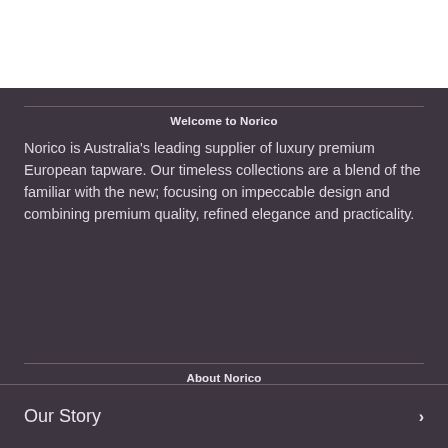Welcome to Norico
Norico is Australia's leading supplier of luxury premium European tapware. Our timeless collections are a blend of the familiar with the new; focusing on impeccable design and combining premium quality, refined elegance and practicality.
About Norico
Our Story